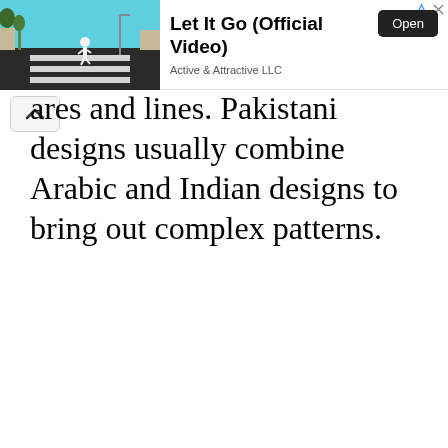[Figure (screenshot): Advertisement banner showing a person crossing a road (crosswalk scene) on the left, with 'Let It Go (Official Video)' title in bold, 'Active & Attractive LLC' subtitle, and an 'Open' button on the right. Small ad icons (triangle and X) in the top-right corner.]
ares and lines. Pakistani designs usually combine Arabic and Indian designs to bring out complex patterns.